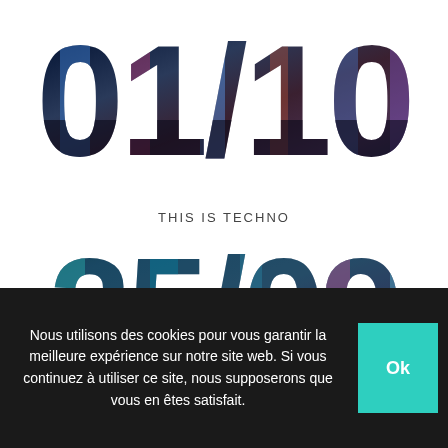[Figure (illustration): Large '01/10' date text with concert/club photo visible through the letterforms (photo clipping mask effect), on white background]
THIS IS TECHNO
[Figure (illustration): Large '25/09' date text with concert/club photo visible through the letterforms (photo clipping mask effect), on white background]
Nous utilisons des cookies pour vous garantir la meilleure expérience sur notre site web. Si vous continuez à utiliser ce site, nous supposerons que vous en êtes satisfait.